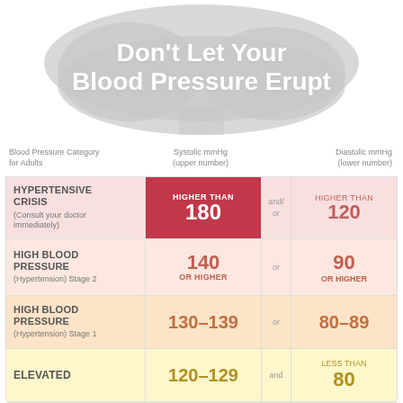Don't Let Your Blood Pressure Erupt
| Blood Pressure Category for Adults | Systolic mmHg (upper number) |  | Diastolic mmHg (lower number) |
| --- | --- | --- | --- |
| HYPERTENSIVE CRISIS (Consult your doctor immediately) | HIGHER THAN 180 | and/or | HIGHER THAN 120 |
| HIGH BLOOD PRESSURE (Hypertension) Stage 2 | 140 OR HIGHER | or | 90 OR HIGHER |
| HIGH BLOOD PRESSURE (Hypertension) Stage 1 | 130–139 | or | 80–89 |
| ELEVATED | 120–129 | and | LESS THAN 80 |
| NORMAL |  |  |  |